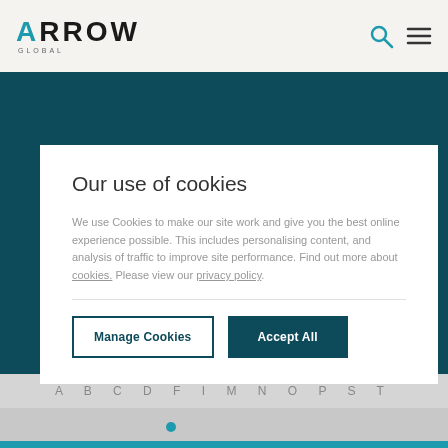ARROW GLOBAL
Our use of cookies
We use Cookies to make our site work and give you the best online experience possible. This includes personalising content, and analysis of traffic to improve site performance. Find out more about cookies. Please view our privacy policy.
Manage Cookies | Accept All
A B C D F I M N O P S T